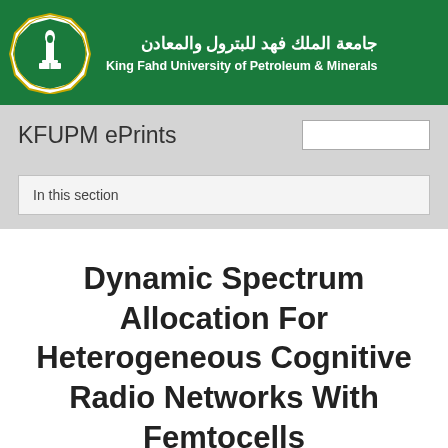[Figure (logo): King Fahd University of Petroleum and Minerals logo — octagonal seal with a torch/book symbol in green and white, Arabic and English text on green banner background]
جامعة الملك فهد للبترول والمعادن
King Fahd University of Petroleum & Minerals
KFUPM ePrints
In this section
Dynamic Spectrum Allocation For Heterogeneous Cognitive Radio Networks With Femtocells